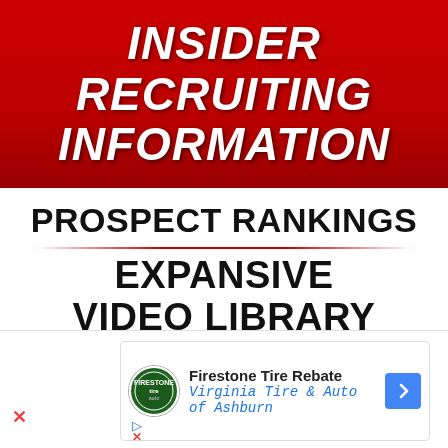INSIDER RECRUITING INFORMATION
PROSPECT RANKINGS
EXPANSIVE VIDEO LIBRARY
IN-DEPTH
Firestone Tire Rebate
Virginia Tire & Auto of Ashburn